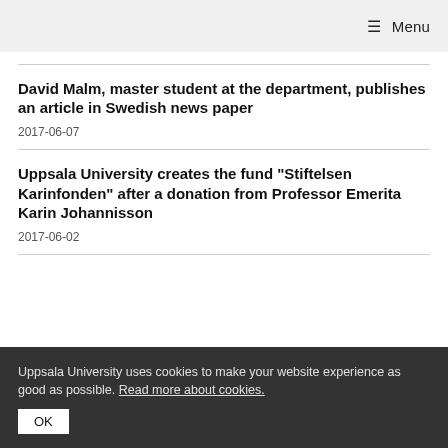≡ Menu
David Malm, master student at the department, publishes an article in Swedish news paper
2017-06-07
Uppsala University creates the fund "Stiftelsen Karinfonden" after a donation from Professor Emerita Karin Johannisson
2017-06-02
Uppsala University uses cookies to make your website experience as good as possible. Read more about cookies.